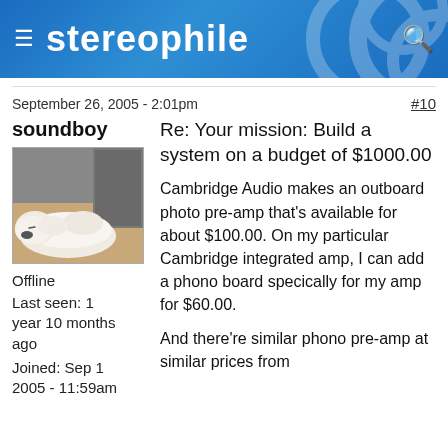stereophile
September 26, 2005 - 2:01pm
#10
soundboy
[Figure (photo): Avatar image of a white fluffy dog sleeping on the floor]
Offline
Last seen: 1 year 10 months ago
Joined: Sep 1 2005 - 11:59am
Re: Your mission: Build a system on a budget of $1000.00
Cambridge Audio makes an outboard photo pre-amp that's available for about $100.00. On my particular Cambridge integrated amp, I can add a phono board specically for my amp for $60.00.
And there're similar phono pre-amp at similar prices from